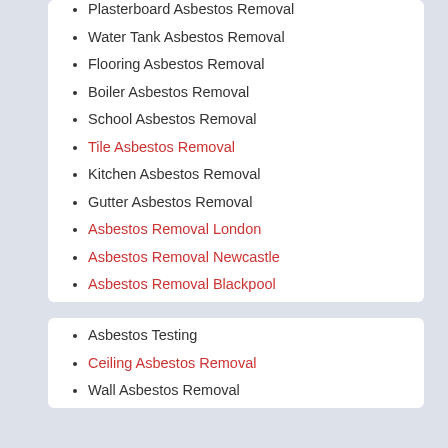Plasterboard Asbestos Removal
Water Tank Asbestos Removal
Flooring Asbestos Removal
Boiler Asbestos Removal
School Asbestos Removal
Tile Asbestos Removal
Kitchen Asbestos Removal
Gutter Asbestos Removal
Asbestos Removal London
Asbestos Removal Newcastle
Asbestos Removal Blackpool
Asbestos Testing
Ceiling Asbestos Removal
Wall Asbestos Removal